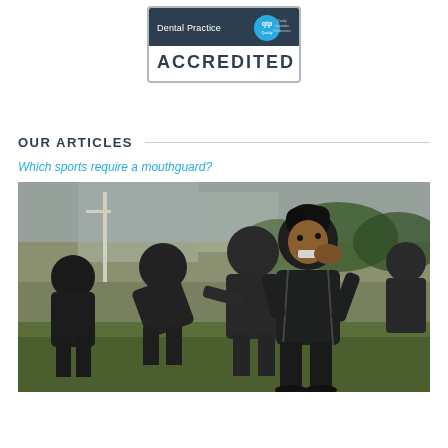[Figure (logo): Dental Practice Accredited badge with QIP (Quality Innovation Performance) logo on dark navy top bar and bold ACCREDITED text below]
OUR ARTICLES
Which sports require a mouthguard?
[Figure (photo): Rugby players in black athletic gear on a grass field; foreground player inserting a mouthguard, background players bending over]